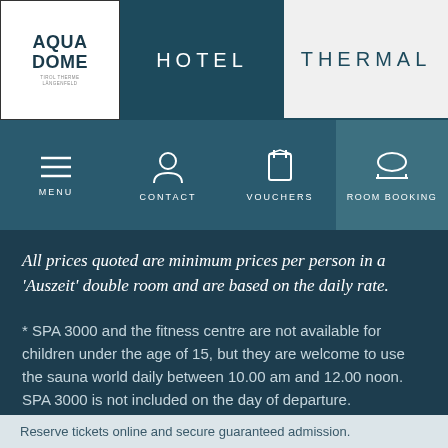[Figure (screenshot): Aqua Dome hotel website navigation header with logo, HOTEL and THERMAL tabs]
[Figure (screenshot): Navigation icon bar with MENU, CONTACT, VOUCHERS, ROOM BOOKING icons]
All prices quoted are minimum prices per person in a 'Auszeit' double room and are based on the daily rate.
* SPA 3000 and the fitness centre are not available for children under the age of 15, but they are welcome to use the sauna world daily between 10.00 am and 12.00 noon. SPA 3000 is not included on the day of departure.
Reserve tickets online and secure guaranteed admission.